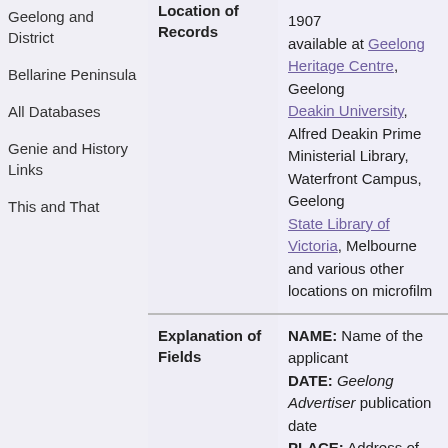Geelong and District
Bellarine Peninsula
All Databases
Genie and History Links
This and That
| Field | Value |
| --- | --- |
| Location of Records | 1901 available at Geelong Heritage Centre, Geelong
Deakin University, Alfred Deakin Prime Ministerial Library, Waterfront Campus, Geelong
State Library of Victoria, Melbourne and various other locations on microfilm |
| Explanation of Fields | NAME: Name of the applicant
DATE: Geelong Advertiser publication date
PLACE: Address of |